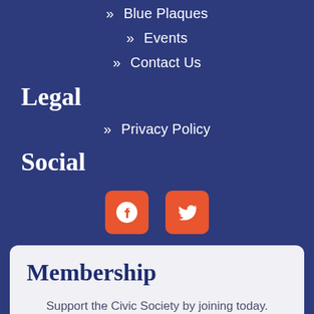» Blue Plaques
» Events
» Contact Us
Legal
» Privacy Policy
Social
[Figure (other): Facebook and Twitter social media icon buttons in orange/red rounded squares]
Membership
Support the Civic Society by joining today. Membership starts at just £12 a year.